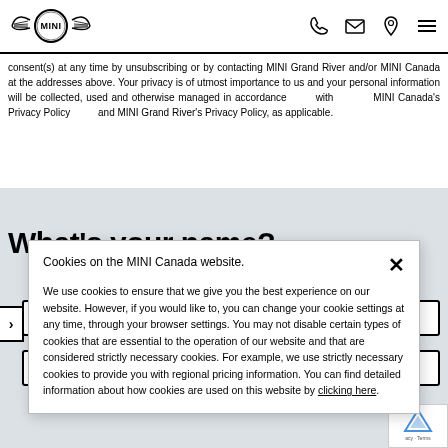MINI logo with phone, email, location, and menu icons
consent(s) at any time by unsubscribing or by contacting MINI Grand River and/or MINI Canada at the addresses above. Your privacy is of utmost importance to us and your personal information will be collected, used and otherwise managed in accordance with MINI Canada's Privacy Policy and MINI Grand River's Privacy Policy, as applicable.
What's your name?
First Name
La
Cookies on the MINI Canada website.
We use cookies to ensure that we give you the best experience on our website. However, if you would like to, you can change your cookie settings at any time, through your browser settings. You may not disable certain types of cookies that are essential to the operation of our website and that are considered strictly necessary cookies. For example, we use strictly necessary cookies to provide you with regional pricing information. You can find detailed information about how cookies are used on this website by clicking here.